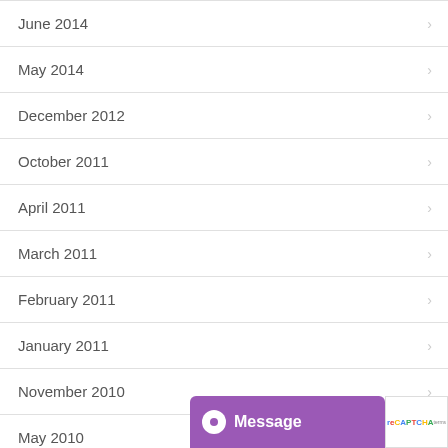June 2014
May 2014
December 2012
October 2011
April 2011
March 2011
February 2011
January 2011
November 2010
May 2010